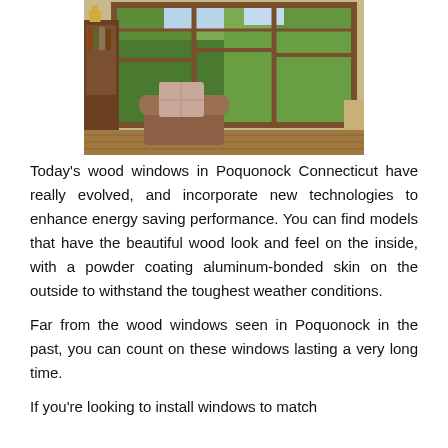[Figure (photo): Interior room photo showing large wood-framed windows with multiple panes looking out to green trees. A cushioned chair with a pillow is visible in the foreground on a hardwood floor.]
Today’s wood windows in Poquonock Connecticut have really evolved, and incorporate new technologies to enhance energy saving performance. You can find models that have the beautiful wood look and feel on the inside, with a powder coating aluminum-bonded skin on the outside to withstand the toughest weather conditions.
Far from the wood windows seen in Poquonock in the past, you can count on these windows lasting a very long time.
If you’re looking to install windows to match